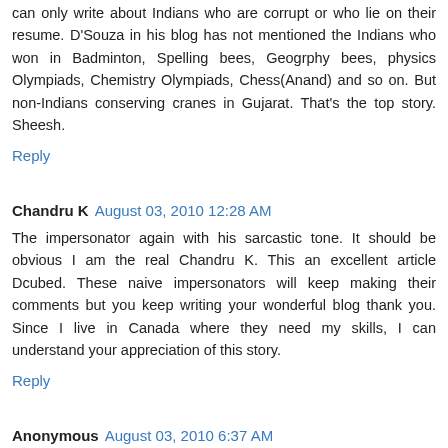can only write about Indians who are corrupt or who lie on their resume. D'Souza in his blog has not mentioned the Indians who won in Badminton, Spelling bees, Geogrphy bees, physics Olympiads, Chemistry Olympiads, Chess(Anand) and so on. But non-Indians conserving cranes in Gujarat. That's the top story. Sheesh.
Reply
Chandru K  August 03, 2010 12:28 AM
The impersonator again with his sarcastic tone. It should be obvious I am the real Chandru K. This an excellent article Dcubed. These naive impersonators will keep making their comments but you keep writing your wonderful blog thank you. Since I live in Canada where they need my skills, I can understand your appreciation of this story.
Reply
Anonymous  August 03, 2010 6:37 AM
does chandru ever read what he comments on? now i